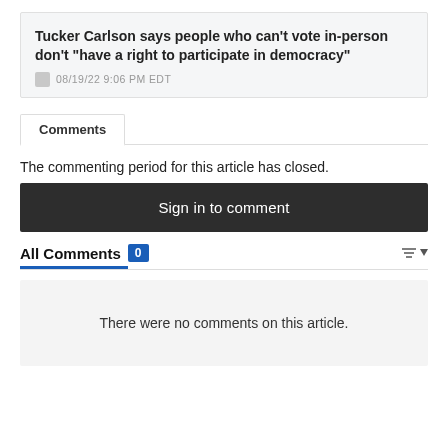Tucker Carlson says people who can't vote in-person don't "have a right to participate in democracy"
08/19/22 9:06 PM EDT
Comments
The commenting period for this article has closed.
Sign in to comment
All Comments 0
There were no comments on this article.